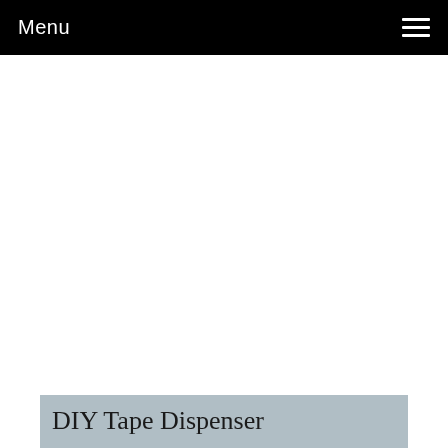Menu
[Figure (photo): Large white blank area representing a video or image placeholder for a DIY Tape Dispenser article]
DIY Tape Dispenser